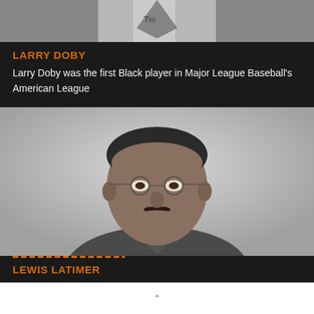[Figure (photo): Top portion of a black and white photo of Larry Doby in baseball uniform, cropped at top of page]
LARRY DOBY
Larry Doby was the first Black player in Major League Baseball's American League
[Figure (photo): Black and white portrait photograph of Lewis Latimer, a Black man wearing glasses and a suit]
LEWIS LATIMER